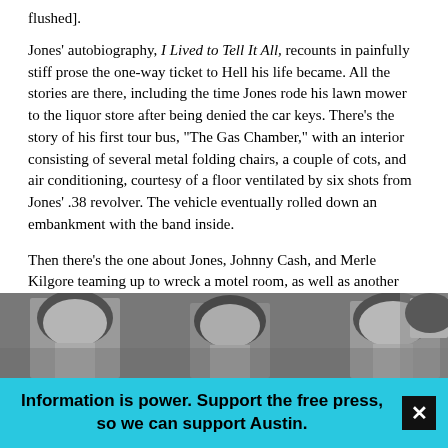flushed].
Jones' autobiography, I Lived to Tell It All, recounts in painfully stiff prose the one-way ticket to Hell his life became. All the stories are there, including the time Jones rode his lawn mower to the liquor store after being denied the car keys. There's the story of his first tour bus, "The Gas Chamber," with an interior consisting of several metal folding chairs, a couple of cots, and air conditioning, courtesy of a floor ventilated by six shots from Jones' .38 revolver. The vehicle eventually rolled down an embankment with the band inside.
Then there's the one about Jones, Johnny Cash, and Merle Kilgore teaming up to wreck a motel room, as well as another one about Cash letting a flock of live chickens loose in a hotel (shades of Keith Moon). In one tale, the Jones Boys, with Johnny Paycheck in tow, traveled from Milwaukee to Vidor, Texas, by car, with the boss insisting that someone trail the band on a moped at all time. The trip took four days, with Paycheck crashing the two-wheeler.
[Figure (photo): Black and white photograph showing multiple people, partially cropped at the bottom of the page]
Information is power. Support the free press, so we can support Austin.